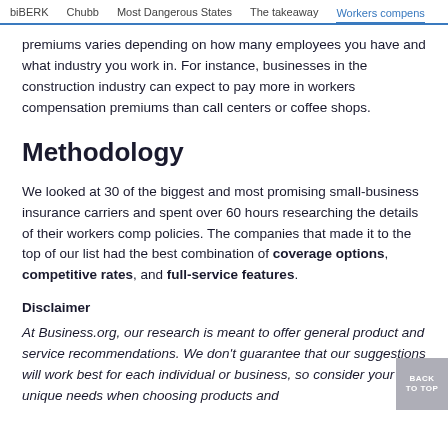biBERK   Chubb   Most Dangerous States   The takeaway   Workers compens
premiums varies depending on how many employees you have and what industry you work in. For instance, businesses in the construction industry can expect to pay more in workers compensation premiums than call centers or coffee shops.
Methodology
We looked at 30 of the biggest and most promising small-business insurance carriers and spent over 60 hours researching the details of their workers comp policies. The companies that made it to the top of our list had the best combination of coverage options, competitive rates, and full-service features.
Disclaimer
At Business.org, our research is meant to offer general product and service recommendations. We don't guarantee that our suggestions will work best for each individual or business, so consider your unique needs when choosing products and